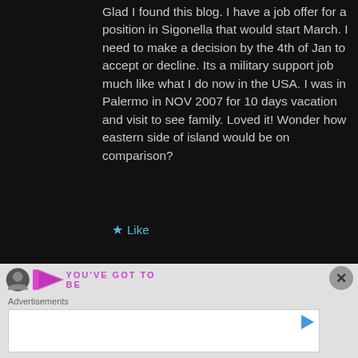Glad I found this blog. I have a job offer for a position in Sigonella that would start March. I need to make a decision by the 4th of Jan to accept or decline. Its a military support job much like what I do now in the USA. I was in Palermo in NOV 2007 for 10 days vacation and visit to see family. Loved it! Wonder how eastern side of island would be on comparison?
★ Like
[Figure (logo): Avatar icon and brand logo with partial text]
Advertisements
[Figure (screenshot): Advertisement box with play button]